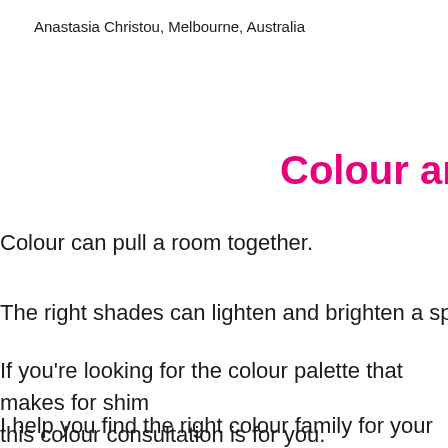Anastasia Christou, Melbourne, Australia
Colour and
Colour can pull a room together.
The right shades can lighten and brighten a space…and
If you're looking for the colour palette that makes for shim this colour consultation is for you.
I help you find the right colour family for your space, suge you might not have considered, and develop a colour pl